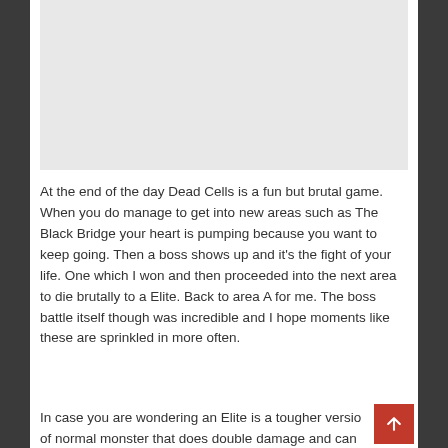[Figure (photo): Gray placeholder image rectangle at top of page]
At the end of the day Dead Cells is a fun but brutal game. When you do manage to get into new areas such as The Black Bridge your heart is pumping because you want to keep going. Then a boss shows up and it's the fight of your life. One which I won and then proceeded into the next area to die brutally to a Elite. Back to area A for me. The boss battle itself though was incredible and I hope moments like these are sprinkled in more often.
In case you are wondering an Elite is a tougher version of normal monster that does double damage and can...